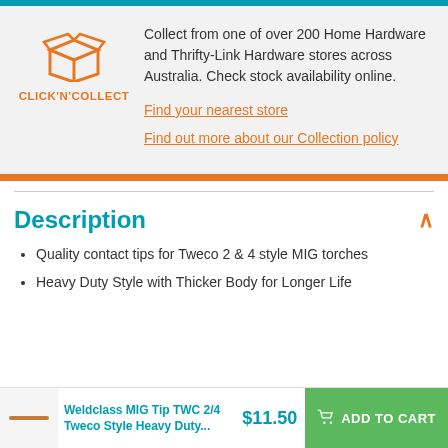[Figure (logo): Click N Collect logo with orange box icon and text CLICK'N'COLLECT]
Collect from one of over 200 Home Hardware and Thrifty-Link Hardware stores across Australia. Check stock availability online.
Find your nearest store
Find out more about our Collection policy
Description
Quality contact tips for Tweco 2 & 4 style MIG torches
Heavy Duty Style with Thicker Body for Longer Life
Weldclass MIG Tip TWC 2/4 Tweco Style Heavy Duty... $11.50 ADD TO CART